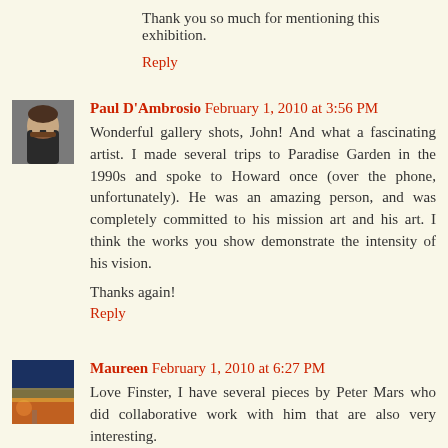Thank you so much for mentioning this exhibition.
Reply
Paul D'Ambrosio  February 1, 2010 at 3:56 PM
Wonderful gallery shots, John! And what a fascinating artist. I made several trips to Paradise Garden in the 1990s and spoke to Howard once (over the phone, unfortunately). He was an amazing person, and was completely committed to his mission art and his art. I think the works you show demonstrate the intensity of his vision.

Thanks again!
Reply
Maureen  February 1, 2010 at 6:27 PM
Love Finster, I have several pieces by Peter Mars who did collaborative work with him that are also very interesting.
Reply